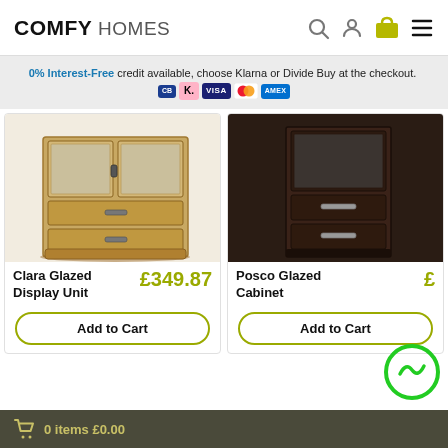COMFY HOMES
0% Interest-Free credit available, choose Klarna or Divide Buy at the checkout.
[Figure (photo): Clara Glazed Display Unit - wooden cabinet with glass doors and drawers]
Clara Glazed Display Unit £349.87
Add to Cart
[Figure (photo): Posco Glazed Cabinet - dark wood cabinet with glass compartment and drawers]
Posco Glazed Cabinet £
Add to Cart
0 items £0.00